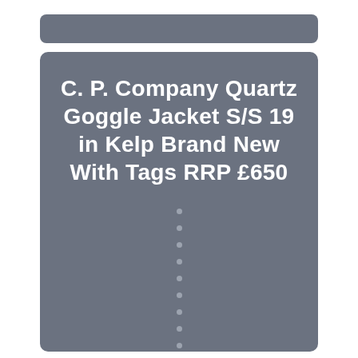C. P. Company Quartz Goggle Jacket S/S 19 in Kelp Brand New With Tags RRP £650